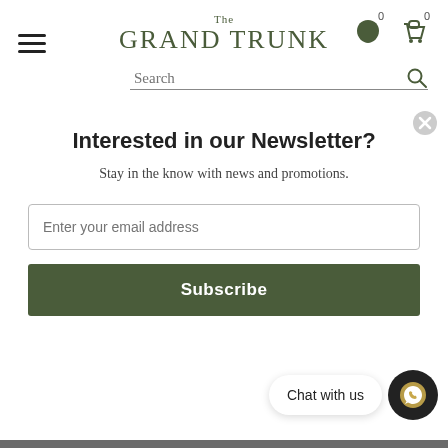[Figure (logo): The Grand Trunk brand logo in olive/dark green serif text]
Interested in our Newsletter?
Stay in the know with news and promotions.
Enter your email address
Subscribe
Singhal, and Samant Chauhan.
Get the exclusive designer co... the labels you lov...
Chat with us